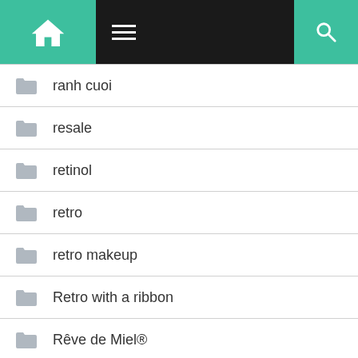Navigation header with home, menu, and search
ranh cuoi
resale
retinol
retro
retro makeup
Retro with a ribbon
Rêve de Miel®
Reverse Crunch
Ringlight drape bangs